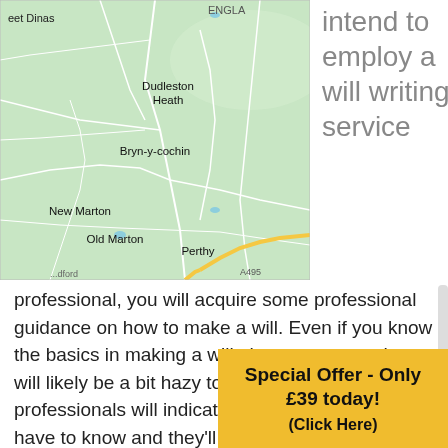[Figure (map): Google Maps screenshot showing area around Dudleston Heath, Bryn-y-cochin, New Marton, Old Marton, Perthy, with partial labels for 'eet Dinas' and 'ENGLA' visible. Road A495 visible at bottom.]
intend to employ a will writing service
professional, you will acquire some professional guidance on how to make a will. Even if you know the basics in making a will, there are areas that will likely be a bit hazy to you. These professionals will indicate all the things that you have to know and they'll direct you throughout the process. You must re... on you... include...
Special Offer - Only £39 today! (Click Here)